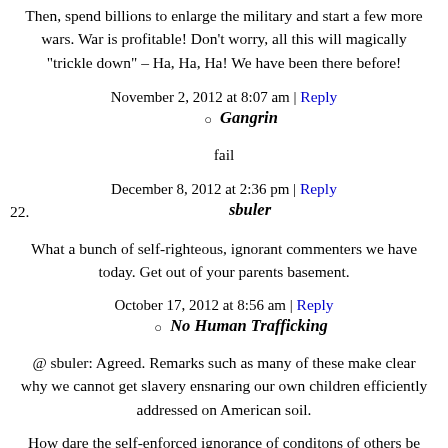Then, spend billions to enlarge the military and start a few more wars. War is profitable! Don't worry, all this will magically "trickle down" – Ha, Ha, Ha! We have been there before!
November 2, 2012 at 8:07 am | Reply
Gangrin
fail
December 8, 2012 at 2:36 pm | Reply
sbuler
What a bunch of self-righteous, ignorant commenters we have today. Get out of your parents basement.
October 17, 2012 at 8:56 am | Reply
No Human Trafficking
@ sbuler: Agreed. Remarks such as many of these make clear why we cannot get slavery ensnaring our own children efficiently addressed on American soil.
How dare the self-enforced ignorance of conditons of others be brought to public attention? Knowledge requires action, therefore all knowledge with effect on